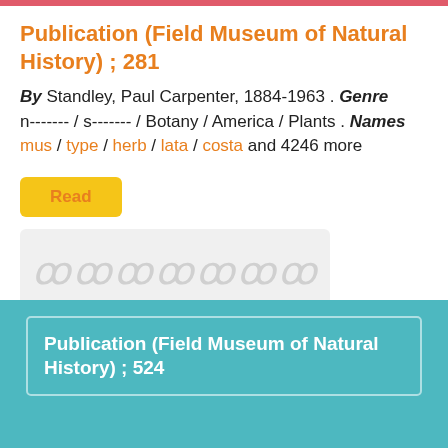Publication (Field Museum of Natural History) ; 281
By Standley, Paul Carpenter, 1884-1963 . Genre n------- / s------- / Botany / America / Plants . Names mus / type / herb / lata / costa and 4246 more
Read
[Figure (other): Preview image placeholder showing stylized italic text in light gray on a light gray background]
0 views
Publication (Field Museum of Natural History) ; 524